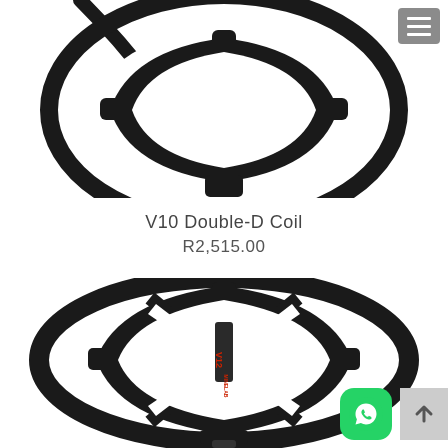[Figure (photo): Close-up top view of a black Minelab V10 Double-D metal detector search coil, showing the coil frame and cable connector against a white background.]
V10 Double-D Coil
R2,515.00
[Figure (photo): Full front view of a black Minelab V12 Double-D metal detector search coil with red V12 branding on the center bar and Minelab logo, against a white background.]